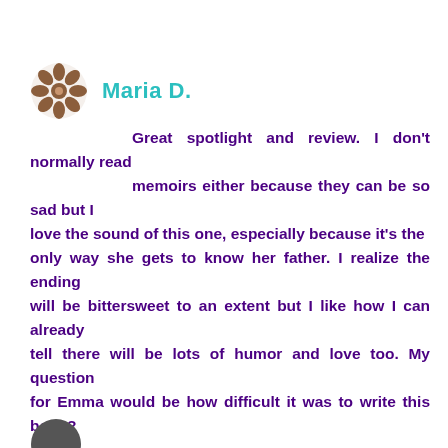Maria D.
Great spotlight and review. I don't normally read memoirs either because they can be so sad but I love the sound of this one, especially because it's the only way she gets to know her father. I realize the ending will be bittersweet to an extent but I like how I can already tell there will be lots of humor and love too. My question for Emma would be how difficult it was to write this book?

Thanks for the giveaway!
Loading...
19 july, 2012, 10:53 am
Reply